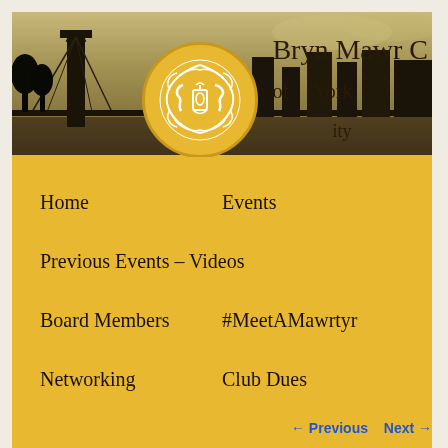[Figure (photo): Banner image showing Brooklyn Bridge silhouette against a moody sky with the Bryn Mawr Club of New York City logo (golden circle with ornate white lantern monogram) and partial text 'Bryn Mawr C... of ... York ... ity']
Home
Events
Previous Events – Videos
Board Members
#MeetAMawrtyr
Networking
Club Dues
← Previous   Next →